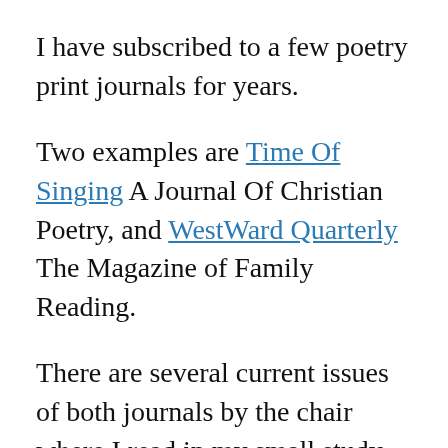I have subscribed to a few poetry print journals for years.
Two examples are Time Of Singing A Journal Of Christian Poetry, and WestWard Quarterly The Magazine of Family Reading.
There are several current issues of both journals by the chair where I read in my small study. So many ways to read. I read poems in sequence, and